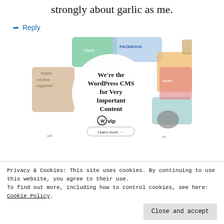strongly about garlic as me.
↳ Reply
[Figure (illustration): WordPress VIP advertisement banner showing the text 'We're the WordPress CMS for Very Important Content' with a WordPress VIP logo and 'Learn more' button, surrounded by colorful brand cards/logos in the background.]
Privacy & Cookies: This site uses cookies. By continuing to use this website, you agree to their use.
To find out more, including how to control cookies, see here: Cookie Policy
Close and accept